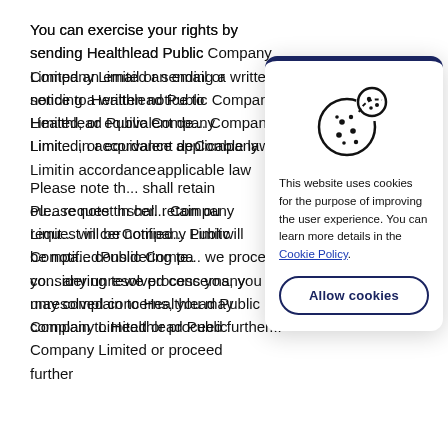You can exercise your rights by sending Healthlead Public Company Limited an email or sending a written notice to Healthlead Public Company Limited, or equivalent de... Company Limit... in accordance applicable law...
Please note th... shall retain ou... request in cer... Company Limit... will be notified... Public Compa... considering te... we process yo... any unresolved concerns, you may complain to Healthlead Public Company Limited or proceed further...
[Figure (illustration): Cookie consent popup overlay with cookie icon, explanatory text about cookie usage, a link to Cookie Policy, and an Allow cookies button.]